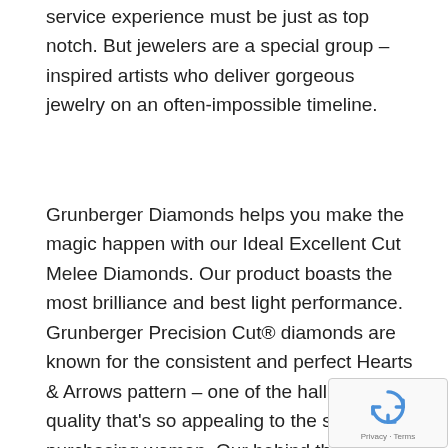service experience must be just as top notch. But jewelers are a special group – inspired artists who deliver gorgeous jewelry on an often-impossible timeline.
Grunberger Diamonds helps you make the magic happen with our Ideal Excellent Cut Melee Diamonds. Our product boasts the most brilliance and best light performance. Grunberger Precision Cut® diamonds are known for the consistent and perfect Hearts & Arrows pattern – one of the hallmarks of quality that's so appealing to the self-purchasing woman. Our behind the scenes
[Figure (other): reCAPTCHA badge with recycling arrow logo icon and Privacy · Terms text]